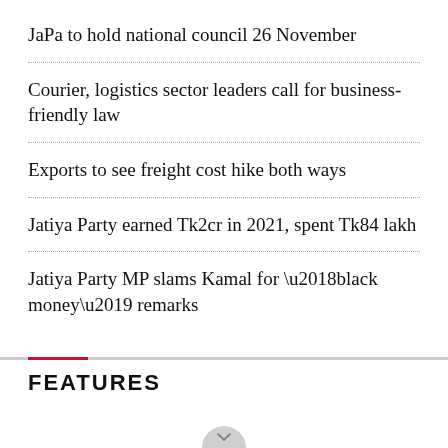JaPa to hold national council 26 November
Courier, logistics sector leaders call for business-friendly law
Exports to see freight cost hike both ways
Jatiya Party earned Tk2cr in 2021, spent Tk84 lakh
Jatiya Party MP slams Kamal for ‘black money’ remarks
FEATURES